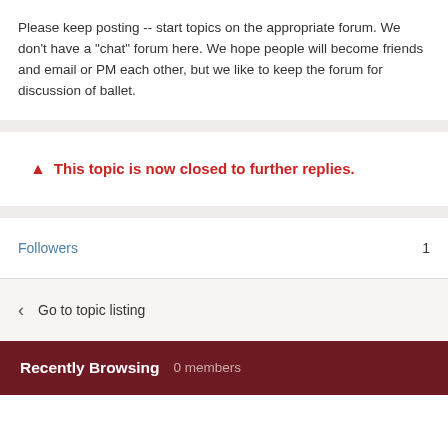Please keep posting -- start topics on the appropriate forum. We don't have a "chat" forum here. We hope people will become friends and email or PM each other, but we like to keep the forum for discussion of ballet.
⚠ This topic is now closed to further replies.
Followers    1
< Go to topic listing
Recently Browsing  0 members